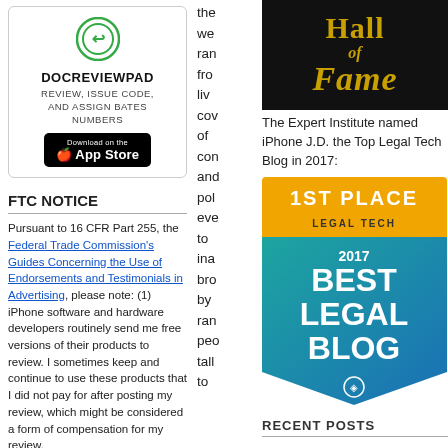[Figure (logo): DocReviewPad advertisement with Apple App Store download button and green circular logo icon]
FTC NOTICE
Pursuant to 16 CFR Part 255, the Federal Trade Commission’s Guides Concerning the Use of Endorsements and Testimonials in Advertising, please note: (1) iPhone software and hardware developers routinely send me free versions of their products to review. I sometimes keep and continue to use these products that I did not pay for after posting my review, which might be considered a form of compensation for my review,
the we ran from live cov of con and pol eve to ina bro by ran pec tall to
[Figure (photo): Hall of Fame logo/banner with gold text on black background]
The Expert Institute named iPhone J.D. the Top Legal Tech Blog in 2017:
[Figure (infographic): Expert Institute Best Legal Blog 2017 badge: 1st Place Legal Tech, teal/blue shield design]
RECENT POSTS